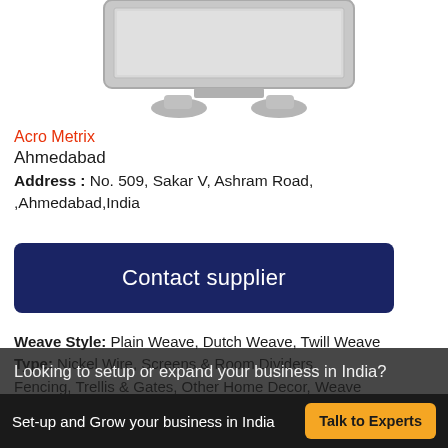[Figure (illustration): Product image showing a monitor/screen device, partially cropped at top]
Acro Metrix
Ahmedabad
Address : No. 509, Sakar V, Ashram Road, ,Ahmedabad,India
Contact supplier
Weave Style: Plain Weave, Dutch Weave, Twill Weave
Type: Nickel Wire, Screens & Room Dividers, Fencing, Trellis & Gates, Other Home Decor, Weave
Looking to setup or expand your business in India?
Set-up and Grow your business in India   Talk to Experts